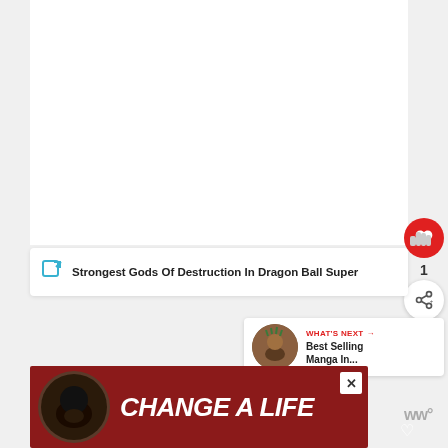[Figure (screenshot): White content area (article image placeholder)]
[Figure (illustration): Red circular like/heart button with heart icon, count of 1, and share button below]
Strongest Gods Of Destruction In Dragon Ball Super
[Figure (illustration): What's Next panel with thumbnail and text: Best Selling Manga In...]
[Figure (photo): Advertisement banner: dark red background with dog photo and text CHANGE A LIFE]